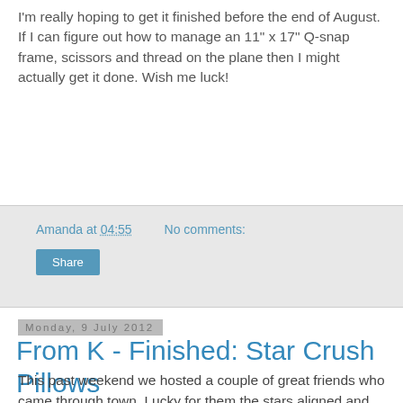I'm really hoping to get it finished before the end of August. If I can figure out how to manage an 11" x 17" Q-snap frame, scissors and thread on the plane then I might actually get it done. Wish me luck!
Amanda at 04:55    No comments:
Share
Monday, 9 July 2012
From K - Finished: Star Crush Pillows
This past weekend we hosted a couple of great friends who came through town. Lucky for them the stars aligned and they had the pleasure of enjoying the last stay in our current guest room before 'Project Craft Room' (as i know lovingly call it) initiates tomorrow. In the meantime I'm pleased to say that the stars aligned for me this weekend too, that is, in the form of finding the time to complete both of my star pillows. Punny I know, but all joked aside I'm pretty pleased with how